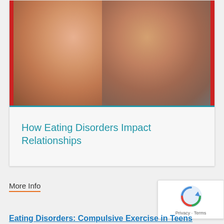[Figure (photo): Two smiling people (a woman on the left and a man on the right) photographed together, with a warm golden/brown background and red border accents on the sides.]
How Eating Disorders Impact Relationships
More Info
Eating Disorders: Compulsive Exercise in Teens